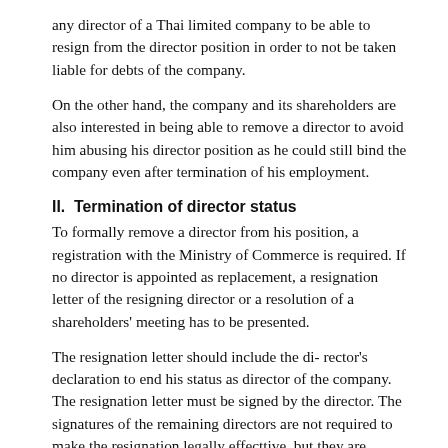any director of a Thai limited company to be able to resign from the director position in order to not be taken liable for debts of the company.
On the other hand, the company and its shareholders are also interested in being able to remove a director to avoid him abusing his director position as he could still bind the company even after termination of his employment.
II.  Termination of director status
To formally remove a director from his position, a registration with the Ministry of Commerce is required. If no director is appointed as replacement, a resignation letter of the resigning director or a resolution of a shareholders' meeting has to be presented.
The resignation letter should include the di- rector's declaration to end his status as director of the company. The resignation letter must be signed by the director. The signatures of the remaining directors are not required to make the resignation legally effecttive, but they are usually included for